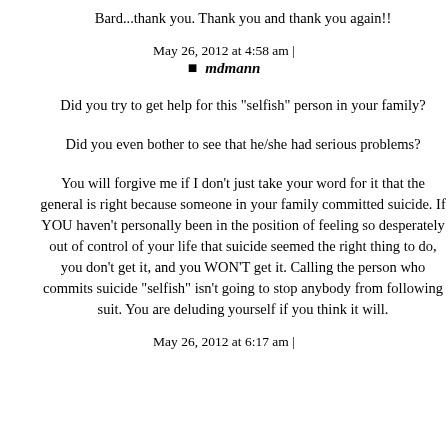Bard...thank you. Thank you and thank you again!!
May 26, 2012 at 4:58 am | mdmann
Did you try to get help for this "selfish" person in your family?
Did you even bother to see that he/she had serious problems?
You will forgive me if I don't just take your word for it that the general is right because someone in your family committed suicide. If YOU haven't personally been in the position of feeling so desperately out of control of your life that suicide seemed the right thing to do, you don't get it, and you WON'T get it. Calling the person who commits suicide "selfish" isn't going to stop anybody from following suit. You are deluding yourself if you think it will.
May 26, 2012 at 6:17 am |